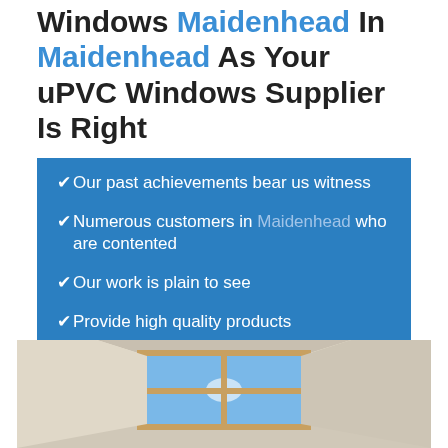Windows Maidenhead In Maidenhead As Your uPVC Windows Supplier Is Right
Our past achievements bear us witness
Numerous customers in Maidenhead who are contented
Our work is plain to see
Provide high quality products
[Figure (photo): Interior photo showing uPVC windows with a view of blue sky outside, taken from inside a room]